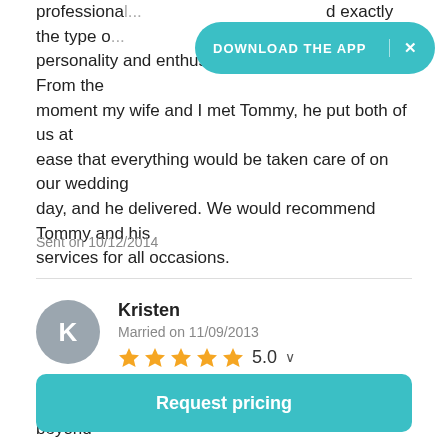professional... ...d exactly the type o... ...his personality and enthusiasm were unmatched. From the moment my wife and I met Tommy, he put both of us at ease that everything would be taken care of on our wedding day, and he delivered. We would recommend Tommy and his services for all occasions.
DOWNLOAD THE APP  ×
Sent on 10/12/2014
Kristen
Married on 11/09/2013
★★★★★ 5.0
Tommy was fantastic to work with and we are beyond
Request pricing